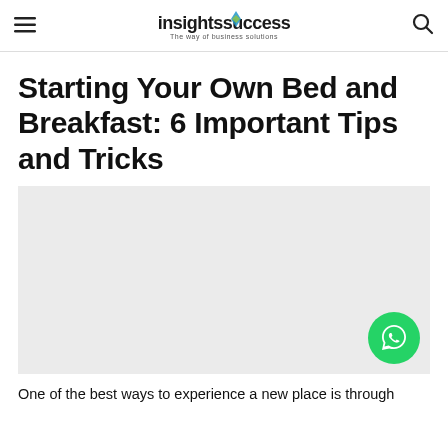insightssuccess — The way of business solutions
Starting Your Own Bed and Breakfast: 6 Important Tips and Tricks
[Figure (photo): Light grey placeholder image for an article about starting a bed and breakfast]
One of the best ways to experience a new place is through